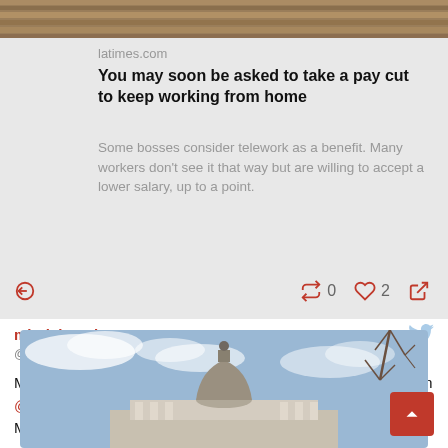[Figure (photo): Top portion of a wood floor / plank background image, cropped at top]
latimes.com
You may soon be asked to take a pay cut to keep working from home
Some bosses consider telework as a benefit. Many workers don't see it that way but are willing to accept a lower salary, up to a point.
0 retweets, 2 likes, reply and share icons
mindchangingUSA · @mindchangingUSA
More legislation in #Montana aimed at #VoterSuppression from @MTGOP that violates the #VotingRights of all good Montanans https://t.co/naQ0gsvlbg
[Figure (photo): Photo of a government building dome (Montana State Capitol) against a cloudy blue sky with bare tree branches on the right]